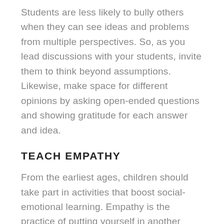Students are less likely to bully others when they can see ideas and problems from multiple perspectives. So, as you lead discussions with your students, invite them to think beyond assumptions. Likewise, make space for different opinions by asking open-ended questions and showing gratitude for each answer and idea.
TEACH EMPATHY
From the earliest ages, children should take part in activities that boost social-emotional learning. Empathy is the practice of putting yourself in another person's shoes, imagining their experience.